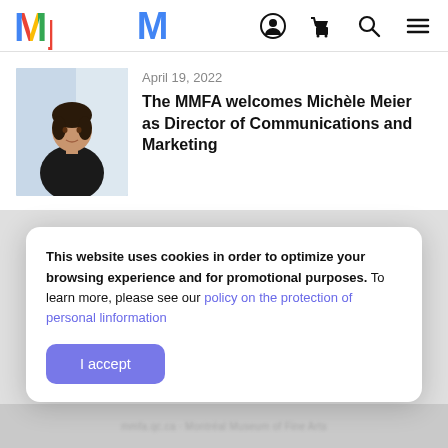MMFA website navigation bar with logo, account, cart, search, and menu icons
[Figure (photo): Portrait photo of Michèle Meier, a woman with short dark hair wearing a black top, against a light blue background]
April 19, 2022
The MMFA welcomes Michèle Meier as Director of Communications and Marketing
This website uses cookies in order to optimize your browsing experience and for promotional purposes. To learn more, please see our policy on the protection of personal linformation
I accept